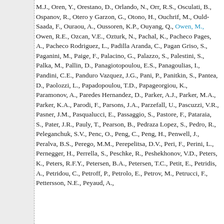M.J., Oren, Y., Orestano, D., Orlando, N., Orr, R.S., Osculati, B., Ospanov, R., Otero y Garzon, G., Otono, H., Ouchrif, M., Ould-Saada, F., Ouraou, A., Oussoren, K.P., Ouyang, Q., Owen, M., Owen, R.E., Ozcan, V.E., Ozturk, N., Pachal, K., Pacheco Pages, A., Pacheco Rodriguez, L., Padilla Aranda, C., Pagan Griso, S., Paganini, M., Paige, F., Palacino, G., Palazzo, S., Palestini, S., Palka, M., Pallin, D., Panagiotopoulou, E.S., Panagoulias, I., Pandini, C.E., Panduro Vazquez, J.G., Pani, P., Panitkin, S., Pantea, D., Paolozzi, L., Papadopoulou, T.D., Papageorgiou, K., Paramonov, A., Paredes Hernandez, D., Parker, A.J., Parker, M.A., Parker, K.A., Parodi, F., Parsons, J.A., Parzefall, U., Pascuzzi, V.R., Pasner, J.M., Pasqualucci, E., Passaggio, S., Pastore, F., Pataraia, S., Pater, J.R., Pauly, T., Pearson, B., Pedraza Lopez, S., Pedro, R., Peleganchuk, S.V., Penc, O., Peng, C., Peng, H., Penwell, J., Peralva, B.S., Perego, M.M., Perepelitsa, D.V., Peri, F., Perini, L., Pernegger, H., Perrella, S., Peschke, R., Peshekhonov, V.D., Peters, K., Peters, R.F.Y., Petersen, B.A., Petersen, T.C., Petit, E., Petridis, A., Petridou, C., Petroff, P., Petrolo, E., Petrov, M., Petrucci, F., Pettersson, N.E., Peyaud, A.,